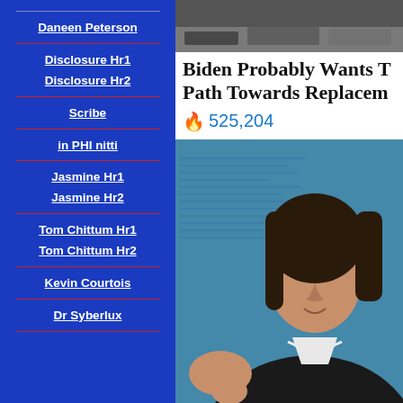Daneen Peterson
Disclosure Hr1
Disclosure Hr2
Scribe
in PHI nitti
Jasmine Hr1
Jasmine Hr2
Tom Chittum Hr1
Tom Chittum Hr2
Kevin Courtois
Dr Syberlux
Biden Probably Wants T Path Towards Replacem
525,204
[Figure (photo): Photo of a woman in a dark pinstripe blazer with pearl necklace, gesturing with her hand, in front of a blue background]